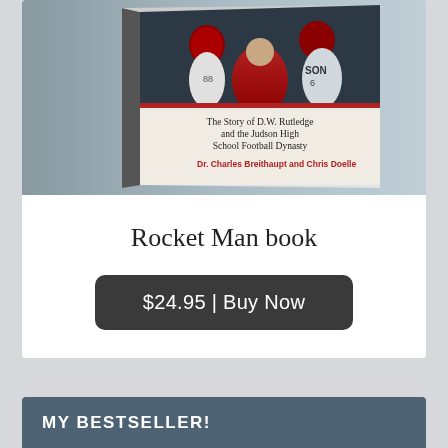[Figure (photo): Book cover of 'Rocket Man' showing football players and a coach. Text on cover reads: 'The Story of D.W. Rutledge and the Judson High School Football Dynasty' by Dr. Charles Breithaupt and Chris Doelle.]
Rocket Man book
$24.95 | Buy Now
MY BESTSELLER!